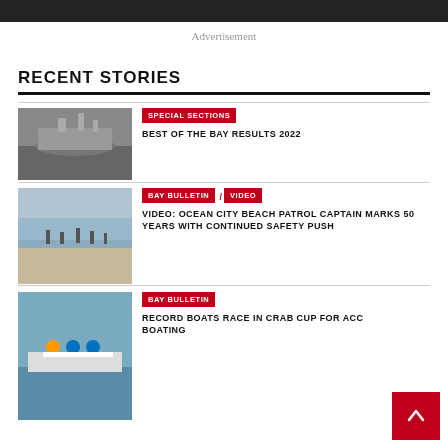Advertisement
RECENT STORIES
SPECIAL SECTIONS | BEST OF THE BAY RESULTS 2022
BAY BULLETIN / VIDEO | VIDEO: OCEAN CITY BEACH PATROL CAPTAIN MARKS 50 YEARS WITH CONTINUED SAFETY PUSH
BAY BULLETIN | RECORD BOATS RACE IN CRAB CUP FOR ACC BOATING